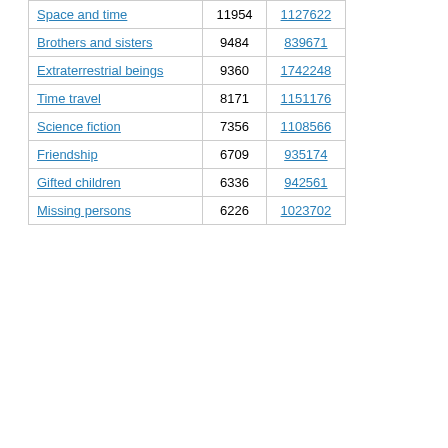| Space and time | 11954 | 1127622 |
| Brothers and sisters | 9484 | 839671 |
| Extraterrestrial beings | 9360 | 1742248 |
| Time travel | 8171 | 1151176 |
| Science fiction | 7356 | 1108566 |
| Friendship | 6709 | 935174 |
| Gifted children | 6336 | 942561 |
| Missing persons | 6226 | 1023702 |
[Figure (pie-chart): ]